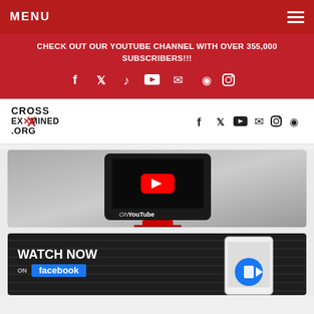MENU
CHECK OUT OUR YOUTUBE CHANNEL WITH OVER 355,000 SUBSCRIBERS!!!
[Figure (screenshot): Social media icons row: Facebook, Twitter/X, TikTok, YouTube, Email, RSS, Instagram in white on red background]
[Figure (logo): CrossExamined.org logo with social icons: Facebook, Twitter, YouTube, Email, Instagram, RSS]
[Figure (screenshot): YouTube channel promo card showing a vintage red TV set with YouTube logo]
[Figure (screenshot): Facebook Watch Now promo card with dark background, tablet device, and Facebook blue play button]